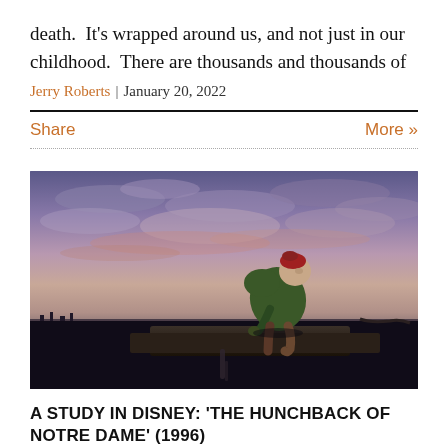death.  It's wrapped around us, and not just in our childhood.  There are thousands and thousands of
Jerry Roberts | January 20, 2022
Share
More »
[Figure (illustration): Animated scene from The Hunchback of Notre Dame (1996) showing Quasimodo sitting on a ledge of Notre Dame cathedral, looking up at a colorful dusk sky with purple, pink and orange clouds.]
A STUDY IN DISNEY: 'THE HUNCHBACK OF NOTRE DAME' (1996)
Disney is as much a part of our lives as love and